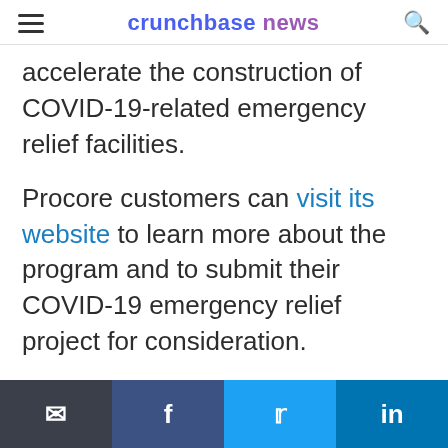crunchbase news
accelerate the construction of COVID-19-related emergency relief facilities.
Procore customers can visit its website to learn more about the program and to submit their COVID-19 emergency relief project for consideration.
Revolution Foods
Revolution Foods partners with...